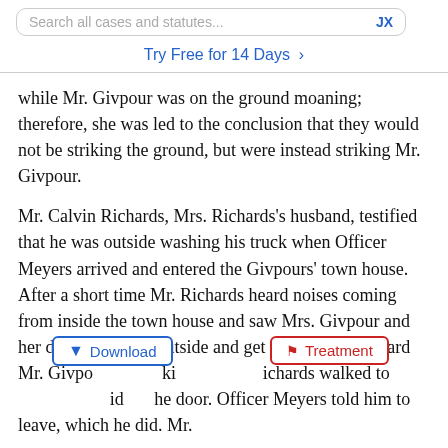Search all cases and statutes...   JX
Try Free for 14 Days >
while Mr. Givpour was on the ground moaning; therefore, she was led to the conclusion that they would not be striking the ground, but were instead striking Mr. Givpour.
Mr. Calvin Richards, Mrs. Richards's husband, testified that he was outside washing his truck when Officer Meyers arrived and entered the Givpours' town house. After a short time Mr. Richards heard noises coming from inside the town house and saw Mrs. Givpour and her daughter come outside and get in the car. He heard Mr. Givpo[...] ki[...] richards walked to[...] id[...] he door. Officer Meyers told him to leave, which he did. Mr.